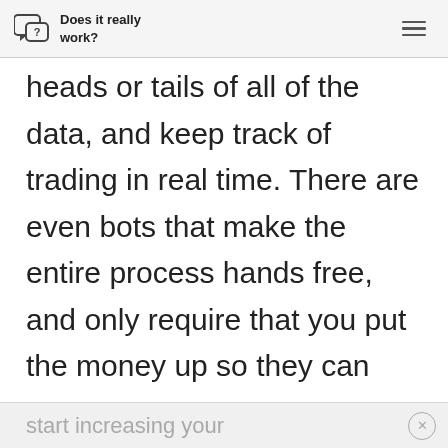Does it really work?
heads or tails of all of the data, and keep track of trading in real time. There are even bots that make the entire process hands free, and only require that you put the money up so they can
start increasing your